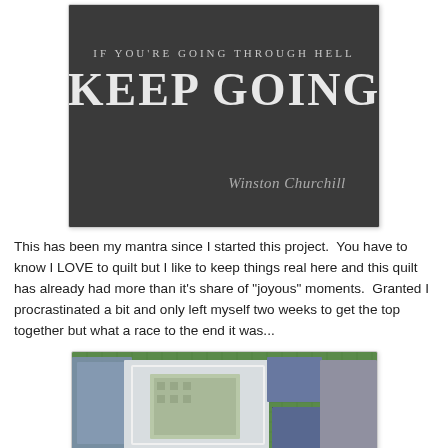[Figure (photo): Dark charcoal background with white text quote: 'IF YOU'RE GOING THROUGH HELL KEEP GOING' with cursive signature 'Winston Churchill' at bottom right]
This has been my mantra since I started this project.  You have to know I LOVE to quilt but I like to keep things real here and this quilt has already had more than it's share of "joyous" moments.  Granted I procrastinated a bit and only left myself two weeks to get the top together but what a race to the end it was...
[Figure (photo): Photo of quilt pieces laid out on a green cutting mat, showing blue and teal fabric pieces and a smaller patterned center piece]